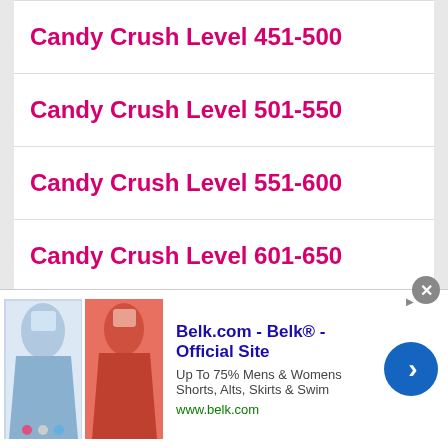Candy Crush Level 451-500
Candy Crush Level 501-550
Candy Crush Level 551-600
Candy Crush Level 601-650
Candy Crush Level 651-700
Candy Crush Level 701-750
[Figure (screenshot): Advertisement banner for Belk.com showing clothing images, title 'Belk.com - Belk® - Official Site', description 'Up To 75% Mens & Womens Shorts, Alts, Skirts & Swim', URL 'www.belk.com', with a blue arrow button and close (X) icon]